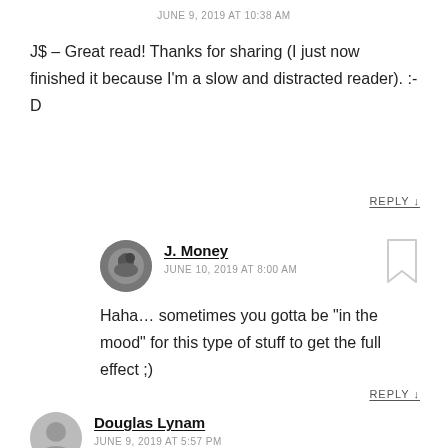JUNE 9, 2019 AT 10:38 AM
J$ – Great read! Thanks for sharing (I just now finished it because I'm a slow and distracted reader). :-D
REPLY ↓
J. Money
JUNE 10, 2019 AT 8:00 AM
Haha… sometimes you gotta be "in the mood" for this type of stuff to get the full effect ;)
REPLY ↓
Douglas Lynam
JUNE 9, 2019 AT 5:57 PM